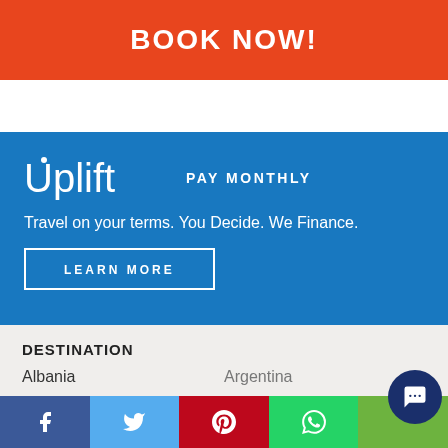BOOK NOW!
[Figure (logo): Uplift PAY MONTHLY logo with tagline and Learn More button on blue background]
Travel on your terms. You Decide. We Finance.
DESTINATION
Albania
Argentina
[Figure (infographic): Social sharing bar with Facebook, Twitter, Pinterest, WhatsApp icons and chat bubble]